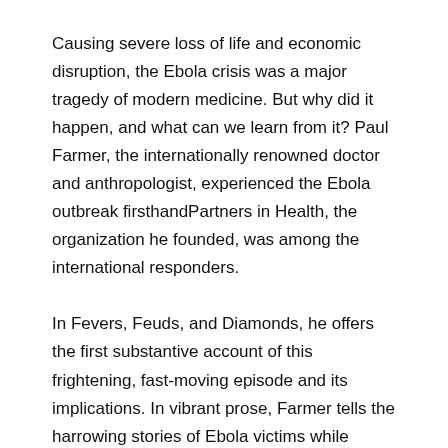Causing severe loss of life and economic disruption, the Ebola crisis was a major tragedy of modern medicine. But why did it happen, and what can we learn from it? Paul Farmer, the internationally renowned doctor and anthropologist, experienced the Ebola outbreak firsthandPartners in Health, the organization he founded, was among the international responders.
In Fevers, Feuds, and Diamonds, he offers the first substantive account of this frightening, fast-moving episode and its implications. In vibrant prose, Farmer tells the harrowing stories of Ebola victims while showing why the medical response was slow and insufficient.
• • •